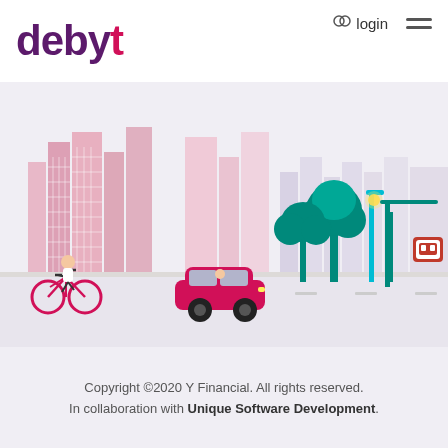debyt
login
[Figure (illustration): Urban street scene illustration with pink buildings cityscape in background, green trees, a bus stop shelter, a cyclist on a red bicycle, a red car, and a light-colored road surface with dashes. Flat vector illustration style.]
Copyright ©2020 Y Financial.  All rights reserved.
In collaboration with Unique Software Development.